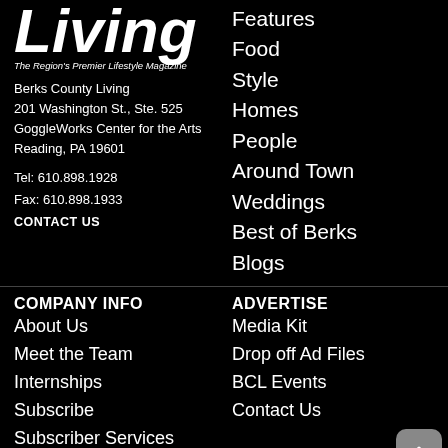Living
The Region's Premier Lifestyle Magazine
Berks County Living
201 Washington St., Ste. 525
GoggleWorks Center for the Arts
Reading, PA 19601
Tel: 610.898.1928
Fax: 610.898.1933
CONTACT US
Features
Food
Style
Homes
People
Around Town
Weddings
Best of Berks
Blogs
COMPANY INFO
About Us
Meet the Team
Internships
Subscribe
Subscriber Services
ADVERTISE
Media Kit
Drop off Ad Files
BCL Events
Contact Us